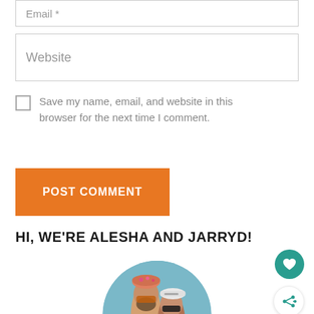Email *
Website
Save my name, email, and website in this browser for the next time I comment.
POST COMMENT
HI, WE'RE ALESHA AND JARRYD!
[Figure (photo): Circular photo of two people (Alesha and Jarryd) smiling outdoors near water, wearing hats and sunglasses]